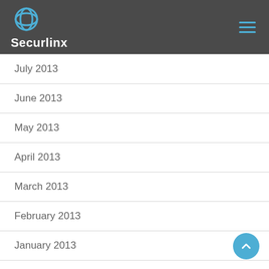Securlinx
July 2013
June 2013
May 2013
April 2013
March 2013
February 2013
January 2013
December 2012